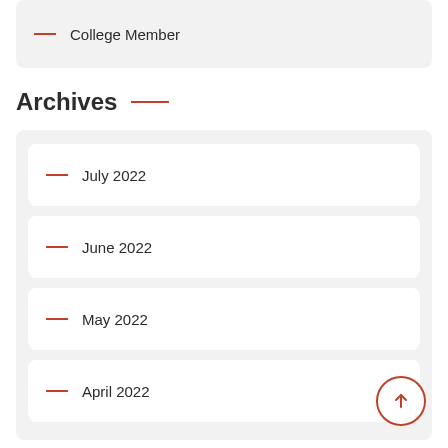College Member
Archives
July 2022
June 2022
May 2022
April 2022